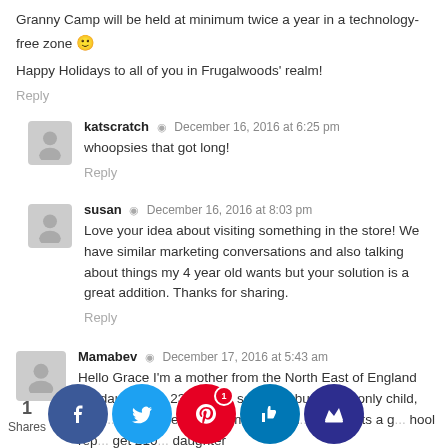Granny Camp will be held at minimum twice a year in a technology-free zone 🙂
Happy Holidays to all of you in Frugalwoods' realm!
Reply
katscratch · December 16, 2016 at 6:25 pm
whoopsies that got long!
Reply
susan · December 16, 2016 at 8:03 pm
Love your idea about visiting something in the store! We have similar marketing conversations and also talking about things my 4 year old wants but your solution is a great addition. Thanks for sharing.
Reply
Mamabev · December 17, 2016 at 5:43 am
Hello Grace I'm a mother from the North East of England my daughter is 23 and my son is 16 but I'm an only child, my p[...]o the[...] he sa[...] but m[...] with m[...] my[...] gets a g[...] hool rep[...] get £10[...] daughter